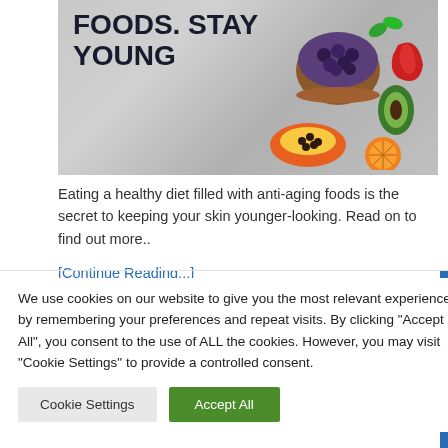[Figure (photo): Anti-aging foods article header image showing colorful fruits in bowls on a gray background with bold text overlay reading 'FOODS. STAY YOUNG']
Eating a healthy diet filled with anti-aging foods is the secret to keeping your skin younger-looking. Read on to find out more..
[Continue Reading...]
We use cookies on our website to give you the most relevant experience by remembering your preferences and repeat visits. By clicking "Accept All", you consent to the use of ALL the cookies. However, you may visit "Cookie Settings" to provide a controlled consent.
Cookie Settings
Accept All